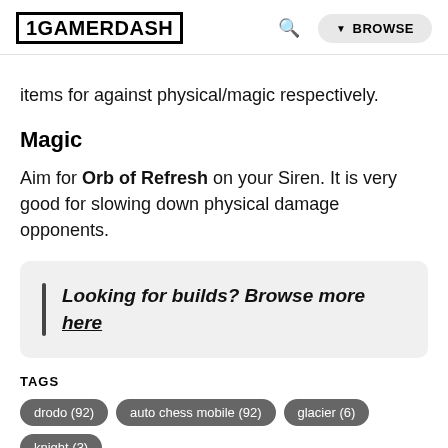1GAMERDASH
items for against physical/magic respectively.
Magic
Aim for Orb of Refresh on your Siren. It is very good for slowing down physical damage opponents.
Looking for builds? Browse more here
TAGS
drodo (92)
auto chess mobile (92)
glacier (6)
knight (3)